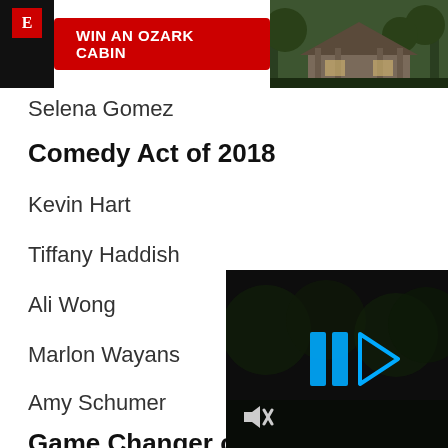[Figure (screenshot): Advertisement banner: WIN AN OZARK CABIN with red button, dark background with logo on left and cabin photo on right]
Selena Gomez
Comedy Act of 2018
Kevin Hart
Tiffany Haddish
Ali Wong
Marlon Wayans
Amy Schumer
Game Changer of
[Figure (screenshot): Video player overlay in bottom right with blue play/pause icons and mute icon, dark background with trees]